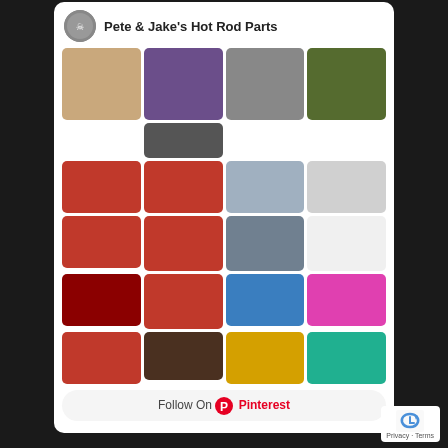[Figure (logo): Circular logo badge for Pete & Jake's Hot Rod Parts]
Pete & Jake's Hot Rod Parts
[Figure (photo): Grid of hot rod and vintage car/truck photos on a Pinterest board]
Follow On Pinterest